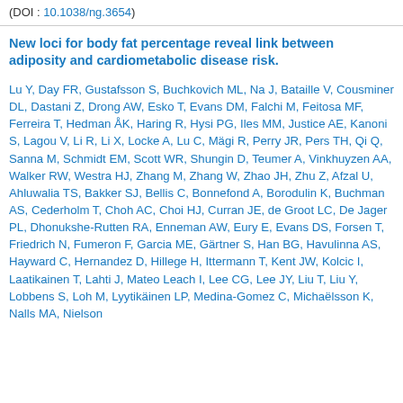(DOI : 10.1038/ng.3654)
New loci for body fat percentage reveal link between adiposity and cardiometabolic disease risk.
Lu Y, Day FR, Gustafsson S, Buchkovich ML, Na J, Bataille V, Cousminer DL, Dastani Z, Drong AW, Esko T, Evans DM, Falchi M, Feitosa MF, Ferreira T, Hedman ÅK, Haring R, Hysi PG, Iles MM, Justice AE, Kanoni S, Lagou V, Li R, Li X, Locke A, Lu C, Mägi R, Perry JR, Pers TH, Qi Q, Sanna M, Schmidt EM, Scott WR, Shungin D, Teumer A, Vinkhuyzen AA, Walker RW, Westra HJ, Zhang M, Zhang W, Zhao JH, Zhu Z, Afzal U, Ahluwalia TS, Bakker SJ, Bellis C, Bonnefond A, Borodulin K, Buchman AS, Cederholm T, Choh AC, Choi HJ, Curran JE, de Groot LC, De Jager PL, Dhonukshe-Rutten RA, Enneman AW, Eury E, Evans DS, Forsen T, Friedrich N, Fumeron F, Garcia ME, Gärtner S, Han BG, Havulinna AS, Hayward C, Hernandez D, Hillege H, Ittermann T, Kent JW, Kolcic I, Laatikainen T, Lahti J, Mateo Leach I, Lee CG, Lee JY, Liu T, Liu Y, Lobbens S, Loh M, Lyytikäinen LP, Medina-Gomez C, Michaëlsson K, Nalls MA, Nielson